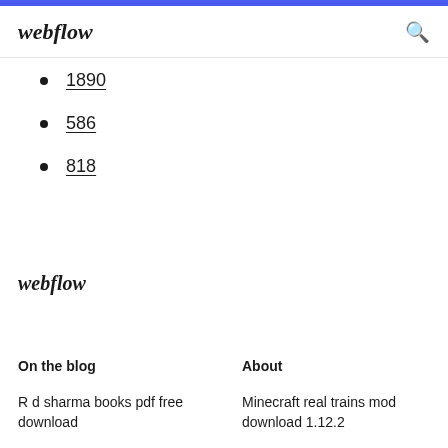webflow
1890
586
818
webflow
On the blog
About
R d sharma books pdf free download
Minecraft real trains mod download 1.12.2